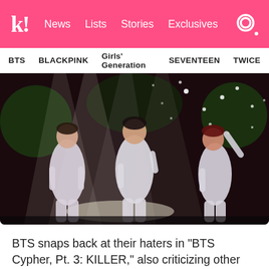k! News  Lists  Stories  Exclusives
BTS
BLACKPINK
Girls' Generation
SEVENTEEN
TWICE
[Figure (photo): Three BTS members performing on stage in matching white outfits with colorful stage lighting behind them]
BTS snaps back at their haters in “BTS Cypher, Pt. 3: KILLER,” also criticizing other performers who don’t bring sincerity to their rap music.